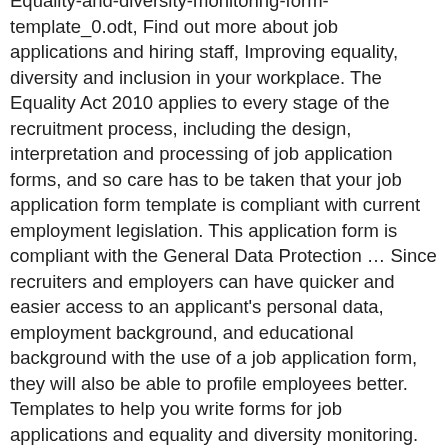Equality-and-diversity-monitoring-form-template_0.odt, Find out more about job applications and hiring staff, Improving equality, diversity and inclusion in your workplace. The Equality Act 2010 applies to every stage of the recruitment process, including the design, interpretation and processing of job application forms, and so care has to be taken that your job application form template is compliant with current employment legislation. This application form is compliant with the General Data Protection … Since recruiters and employers can have quicker and easier access to an applicant's personal data, employment background, and educational background with the use of a job application form, they will also be able to profile employees better. Templates to help you write forms for job applications and equality and diversity monitoring. You can use this basic job application form when you need. Word. The form is commonly filled out when applying as a walk-in applicant, meaning it is filled out offline with a pen and a printed copy of the form. Mistakes on the form will not impress an employer. Daytime Contact No. The specially designed application form template helps you to create an extremely specific form without any difficulties. A form to help equality and diversity in your workplace, to include with the job application form, but ask the employee to return separately to keep the form confidential. Application For Employment. If you need the letter in a different format, or you cannot download it,